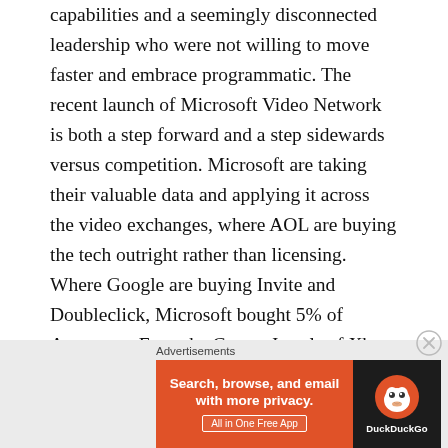capabilities and a seemingly disconnected leadership who were not willing to move faster and embrace programmatic. The recent launch of Microsoft Video Network is both a step forward and a step sidewards versus competition. Microsoft are taking their valuable data and applying it across the video exchanges, where AOL are buying the tech outright rather than licensing. Where Google are buying Invite and Doubleclick, Microsoft bought 5% of Appnexus. Even the Crown Jewels of Xbox and Kinect have been under utilised, I am still yet to see an Ad pushing Xbox as anything more than a games console when in reality it is so much more, I think we will see that change over coming months as Google TV, Apple TV and others ramp up their efforts.
[Figure (other): DuckDuckGo advertisement banner with orange background on left side showing 'Search, browse, and email with more privacy. All in One Free App' text, and dark right side with DuckDuckGo duck logo and brand name.]